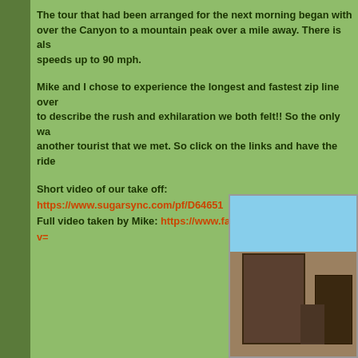The tour that had been arranged for the next morning began with over the Canyon to a mountain peak over a mile away. There is also speeds up to 90 mph.
Mike and I chose to experience the longest and fastest zip line over to describe the rush and exhilaration we both felt!! So the only way another tourist that we met. So click on the links and have the ride
Short video of our take off: https://www.sugarsync.com/pf/D64651
Full video taken by Mike: https://www.facebook.com/video.php?v=
[Figure (photo): Partial view of a stone or wooden structure against a blue sky, appears to be a building or platform at a canyon/outdoor location]